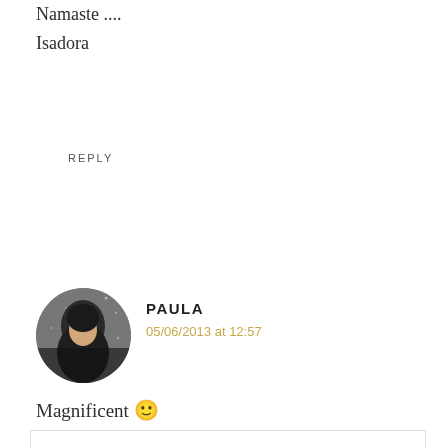Namaste ....
Isadora
REPLY
[Figure (photo): Circular avatar photo of Paula — black and white portrait of a person with long hair against a sparkly background]
PAULA
05/06/2013 at 12:57
Magnificent 🙂
REPLY
The Urge To Wander uses cookies to enhance your experience on this website. By continuing to use the site you consent to our cookies. Privacy Policy
OK
05/06/2013 at 17:42